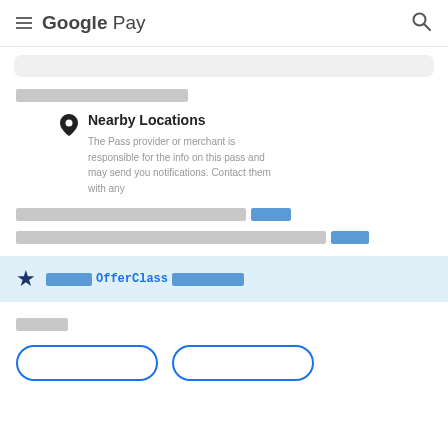Google Pay
[Figure (screenshot): Partial card UI element, gray rounded rectangle]
[redacted text line]
[Figure (infographic): Nearby Locations section with map pin icon. Description: The Pass provider or merchant is responsible for the info on this pass and may send you notifications. Contact them with any]
[redacted text with blue link]
[redacted text with blue link at end]
★ [redacted] OfferClass [redacted]
[redacted section title]
[Figure (screenshot): Two outlined blue buttons at bottom]